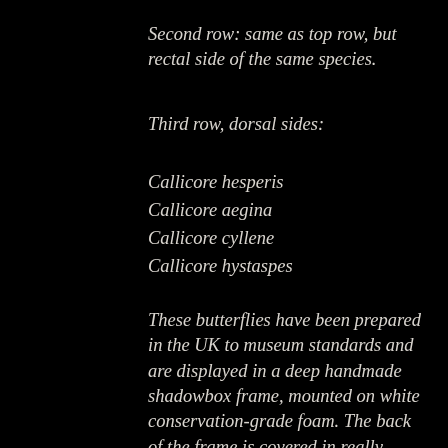Second row: same as top row, but rectal side of the same species.
Third row, dorsal sides:
Callicore hesperis
Callicore aegina
Callicore cyllene
Callicore hystaspes
These butterflies have been prepared in the UK to museum standards and are displayed in a deep handmade shadowbox frame, mounted on white conservation-grade foam. The back of the frame is covered in really special Italian decorative paper, with a brass hook for hanging it on the wall (but it